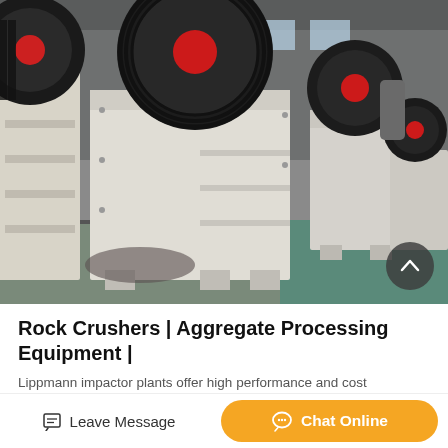[Figure (photo): Industrial jaw crushers / aggregate processing equipment in a manufacturing facility. Large white/cream-colored machines with big black and red flywheels visible in the background of an industrial workshop.]
Rock Crushers | Aggregate Processing Equipment |
Lippmann impactor plants offer high performance and cost
Leave Message
Chat Online